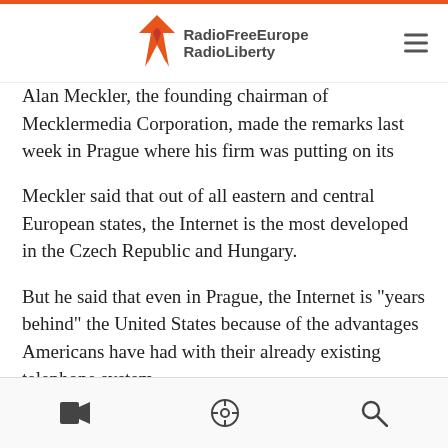RadioFreeEurope RadioLiberty
Alan Meckler, the founding chairman of Mecklermedia Corporation, made the remarks last week in Prague where his firm was putting on its first Internet conference in the region.
Meckler said that out of all eastern and central European states, the Internet is the most developed in the Czech Republic and Hungary.
But he said that even in Prague, the Internet is "years behind" the United States because of the advantages Americans have had with their already existing telephone system.
[video icon] [podcast icon] [search icon]